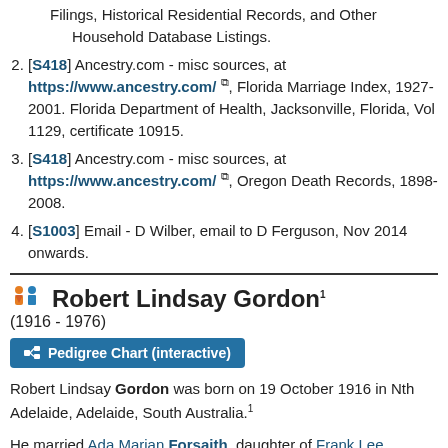Filings, Historical Residential Records, and Other Household Database Listings.
[S418] Ancestry.com - misc sources, at https://www.ancestry.com/, Florida Marriage Index, 1927-2001. Florida Department of Health, Jacksonville, Florida, Vol 1129, certificate 10915.
[S418] Ancestry.com - misc sources, at https://www.ancestry.com/, Oregon Death Records, 1898-2008.
[S1003] Email - D Wilber, email to D Ferguson, Nov 2014 onwards.
Robert Lindsay Gordon (1916 - 1976)
Pedigree Chart (interactive)
Robert Lindsay Gordon was born on 19 October 1916 in Nth Adelaide, Adelaide, South Australia.
He married Ada Marian Forsaith, daughter of Frank Lee Forsaith and Ella Marian Gare, at Pirie St Methodist Church in Port Pirie, South Australia, on 19 October 1946.